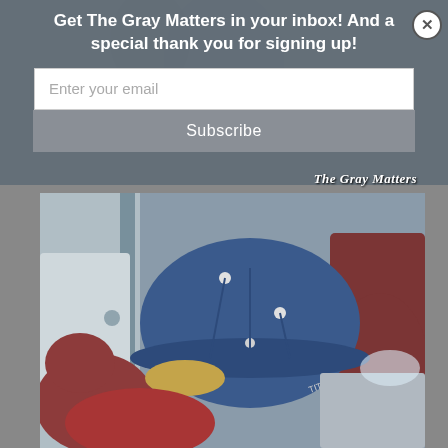Get The Gray Matters in your inbox! And a special thank you for signing up!
Enter your email
Subscribe
[Figure (photo): Text overlay 'The Gray Matters' on photo background]
[Figure (photo): Photo of a person sleeping/resting with head down wearing a blue baseball cap, seated next to someone in a maroon shirt]